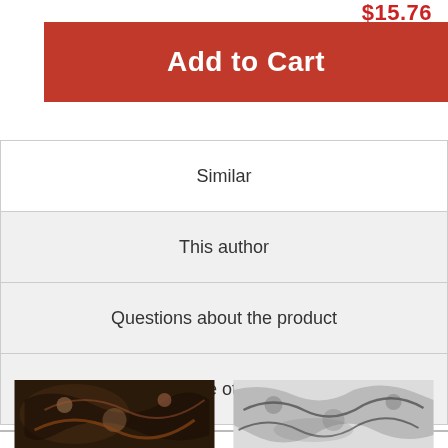$15.76
Add to Cart
Similar
This author
Questions about the product
See other
[Figure (photo): Two product thumbnail images at the bottom of the page]